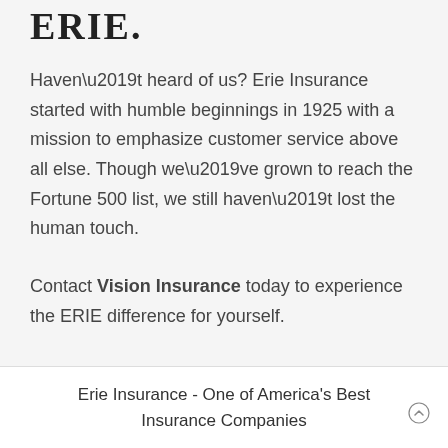ERIE.
Haven’t heard of us? Erie Insurance started with humble beginnings in 1925 with a mission to emphasize customer service above all else. Though we’ve grown to reach the Fortune 500 list, we still haven’t lost the human touch.
Contact Vision Insurance today to experience the ERIE difference for yourself.
Erie Insurance - One of America's Best Insurance Companies